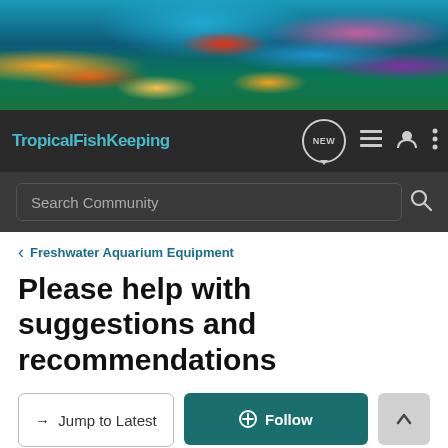[Figure (photo): Tropical fish and coral reef banner header image with colorful fish, sea turtles, and coral in a vibrant underwater scene]
TropicalFishKeeping
Search Community
< Freshwater Aquarium Equipment
Please help with suggestions and recommendations
→ Jump to Latest
+ Follow
121 - 140 of 218 Posts
7 of 11